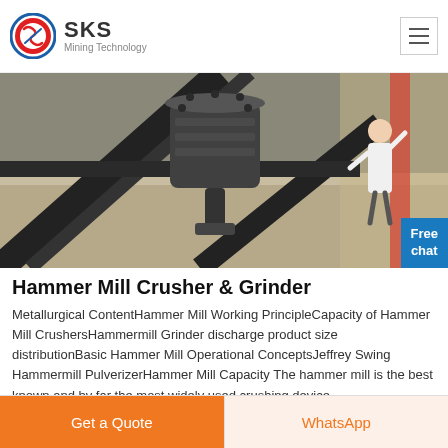[Figure (logo): SKS Mining Technology logo with red/blue circular emblem and company name]
[Figure (photo): Industrial hammer mill crusher machinery photographed in a factory setting, large grey metal equipment with structural steel frame]
Hammer Mill Crusher & Grinder
Metallurgical ContentHammer Mill Working PrincipleCapacity of Hammer Mill CrushersHammermill Grinder discharge product size distributionBasic Hammer Mill Operational ConceptsJeffrey Swing Hammermill PulverizerHammer Mill Capacity The hammer mill is the best known and by far the most widely used crushing device.
Get a Quote
WhatsApp